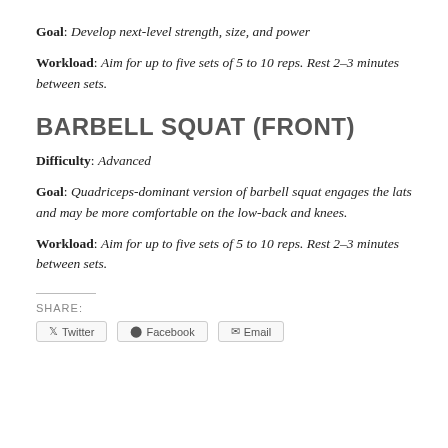Goal: Develop next-level strength, size, and power
Workload: Aim for up to five sets of 5 to 10 reps. Rest 2–3 minutes between sets.
BARBELL SQUAT (FRONT)
Difficulty: Advanced
Goal: Quadriceps-dominant version of barbell squat engages the lats and may be more comfortable on the low-back and knees.
Workload: Aim for up to five sets of 5 to 10 reps. Rest 2–3 minutes between sets.
SHARE:
Twitter  Facebook  Email